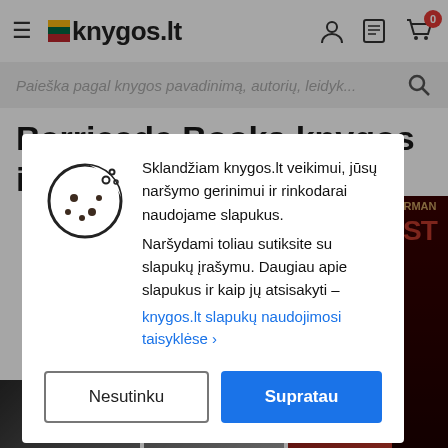knygos.lt
Paieška pagal knygos pavadinimą, autorių, leidyk...
Barricade Books knygos ir kitos
Sklandžiam knygos.lt veikimui, jūsų naršymo gerinimui ir rinkodarai naudojame slapukus. Naršydami toliau sutiksite su slapukų įrašymu. Daugiau apie slapukus ir kaip jų atsisakyti – knygos.lt slapukų naudojimosi taisyklėse ›
Nesutinku
Supratau